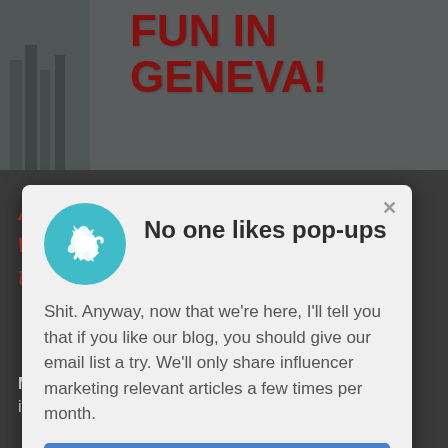[Figure (screenshot): Background page showing a fun in Geneva blog post image at the top with red bold text 'FUN IN GENEVA!' and a darkened bottom portion with article content partially visible]
[Figure (screenshot): Modal pop-up overlay with a teal circular icon showing a jumping animal (fox/dog), title 'No one likes pop-ups', body text about email list, and a blue 'Subscribe now' button]
No one likes pop-ups
Shit. Anyway, now that we're here, I'll tell you that if you like our blog, you should give our email list a try. We'll only share influencer marketing relevant articles a few times per month.
Subscribe now
Any advice for influencers wanting to develop a niche profile?
Marcus: If your account is personal, you should make it about something you're interested in, or else it